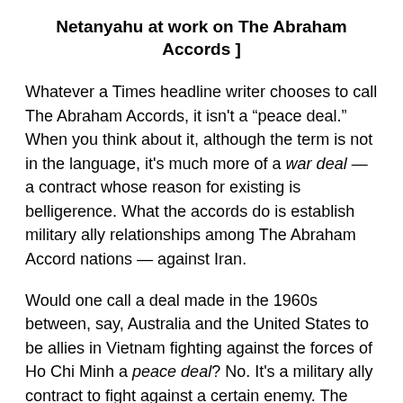Netanyahu at work on The Abraham Accords ]
Whatever a Times headline writer chooses to call The Abraham Accords, it isn't a “peace deal.” When you think about it, although the term is not in the language, it's much more of a war deal — a contract whose reason for existing is belligerence. What the accords do is establish military ally relationships among The Abraham Accord nations — against Iran.
Would one call a deal made in the 1960s between, say, Australia and the United States to be allies in Vietnam fighting against the forces of Ho Chi Minh a peace deal? No. It's a military ally contract to fight against a certain enemy. The Abraham Accords are a deal meant to unite Jewish and Arab nations in their mutual hostility toward Iran; this is a dead giveaway when you realize the critical glue that facilitated the deal is the provision of lethal